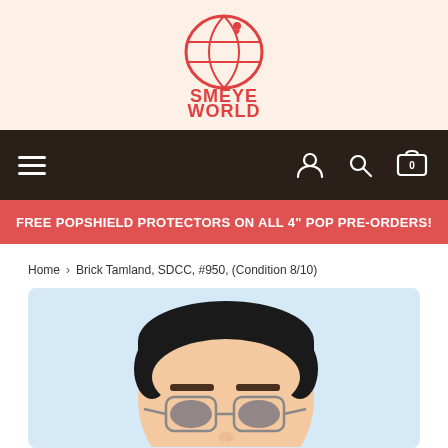[Figure (logo): Smeye World Toys For People logo in red/coral with a globe graphic]
Navigation bar with hamburger menu, user icon, search icon, and cart icon
FREE POPSHIELD PROTECTORS ON ALL 4" POP PRE-ORDERS!
Home > Brick Tamland, SDCC, #950, (Condition 8/10)
[Figure (photo): Funko Pop vinyl figure of Brick Tamland showing close-up of head with dark hair, glasses, and skin-toned face]